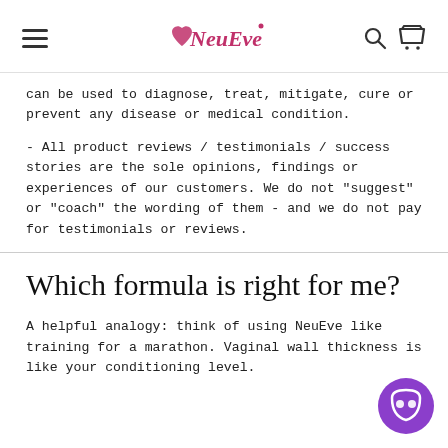NeuEve
can be used to diagnose, treat, mitigate, cure or prevent any disease or medical condition.
- All product reviews / testimonials / success stories are the sole opinions, findings or experiences of our customers. We do not "suggest" or "coach" the wording of them - and we do not pay for testimonials or reviews.
Which formula is right for me?
A helpful analogy: think of using NeuEve like training for a marathon. Vaginal wall thickness is like your conditioning level.